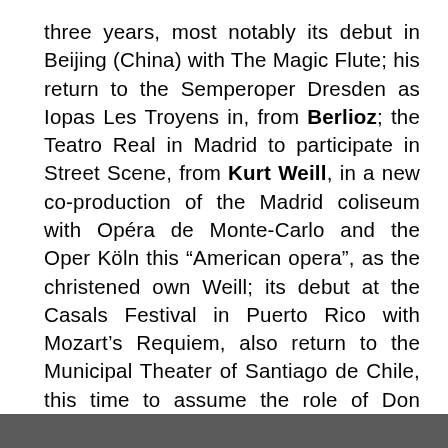three years, most notably its debut in Beijing (China) with The Magic Flute; his return to the Semperoper Dresden as Iopas Les Troyens in, from Berlioz; the Teatro Real in Madrid to participate in Street Scene, from Kurt Weill, in a new co-production of the Madrid coliseum with Opéra de Monte-Carlo and the Oper Köln this “American opera”, as the christened own Weill; its debut at the Casals Festival in Puerto Rico with Mozart’s Requiem, also return to the Municipal Theater of Santiago de Chile, this time to assume the role of Don Ottavio in Don Giovanni.
More information